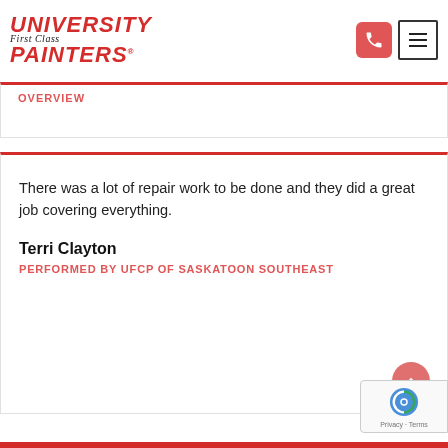[Figure (logo): University First Class Painters logo with red bold italic text]
OVERVIEW (partially visible, cut off)
There was a lot of repair work to be done and they did a great job covering everything.
Terri Clayton
PERFORMED BY UFCP OF SASKATOON SOUTHEAST